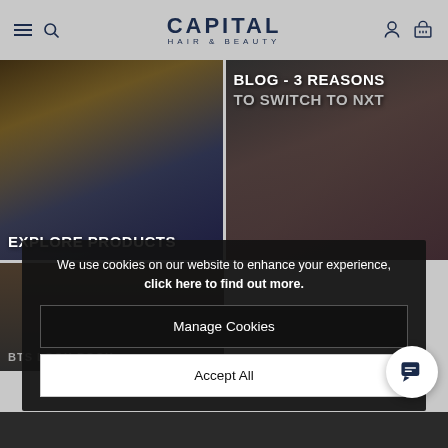[Figure (screenshot): Capital Hair & Beauty website header with hamburger menu, search icon, logo, user icon, and cart icon on grey background]
[Figure (photo): Two promotional image tiles: left tile shows hair products with label 'EXPLORE PRODUCTS', right tile shows person with label 'BLOG - 3 REASONS TO SWITCH TO NXT']
[Figure (photo): Partial image tile at bottom left with label 'BTS LOOK BOOK']
We use cookies on our website to enhance your experience, click here to find out more.
Manage Cookies
Accept All
NXT Look Book – Live Life In Colour Looking for colour inspiration? For statement hair colour or everyday looks, check out the NXT Look Book for step by step guides. View here, or pick up a copy in-store at Capital.